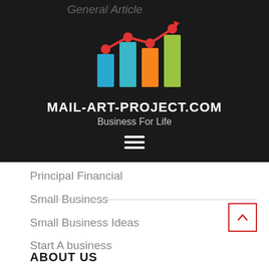General Article
Home Business Ideas
Investing In Stocks
Investment
Investment Companies
Investment Trust
[Figure (logo): Mail-Art-Project.com logo with bar chart and trend line icons, subtitle 'Business For Life', and hamburger menu]
Principal Financial
Small Business
Small Business Ideas
Start A business
ABOUT US